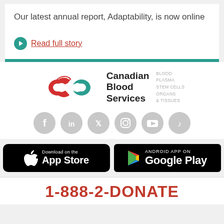Our latest annual report, Adaptability, is now online
Read full story
[Figure (logo): Canadian Blood Services logo with infinity symbol in red and teal, text 'Canadian Blood Services' with tagline 'BLOOD PLASMA STEM CELLS ORGANS & TISSUES', and social media icons for Facebook, LinkedIn, Twitter, Instagram, YouTube, TikTok]
[Figure (other): App Store download button (Apple) and Google Play Android app button]
1-888-2-DONATE